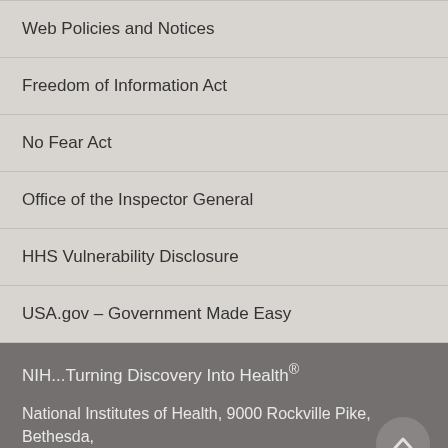Web Policies and Notices
Freedom of Information Act
No Fear Act
Office of the Inspector General
HHS Vulnerability Disclosure
USA.gov – Government Made Easy
NIH...Turning Discovery Into Health®
National Institutes of Health, 9000 Rockville Pike, Bethesda, Maryland 20892
U.S. Department of Health and Human Services